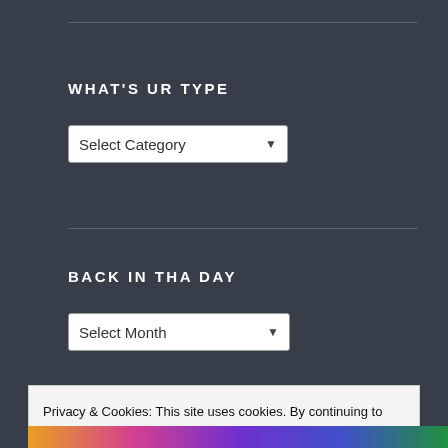WHAT'S UR TYPE
[Figure (screenshot): A dropdown selector labeled 'Select Category' with a down arrow, on a dark background]
BACK IN THA DAY
[Figure (screenshot): A dropdown selector labeled 'Select Month' with a down arrow, on a dark background]
Privacy & Cookies: This site uses cookies. By continuing to use this website, you agree to their use.
To find out more, including how to control cookies, see here: Cookie Policy
Close and accept